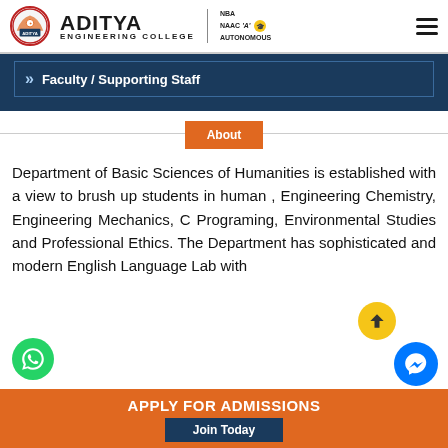ADITYA ENGINEERING COLLEGE | NBA NAAC 'A' AUTONOMOUS
Faculty / Supporting Staff
About
Department of Basic Sciences of Humanities is established with a view to brush up students in human , Engineering Chemistry, Engineering Mechanics, C Programing, Environmental Studies and Professional Ethics. The Department has sophisticated and modern English Language Lab with
APPLY FOR ADMISSIONS — Join Today